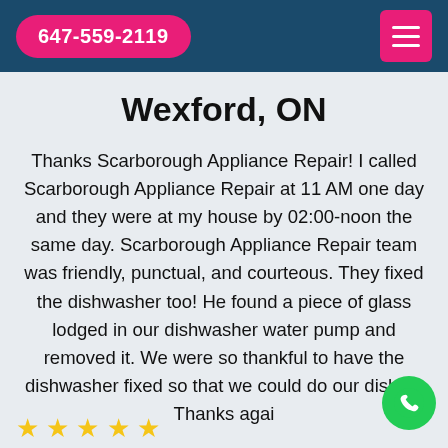647-559-2119
Wexford, ON
Thanks Scarborough Appliance Repair! I called Scarborough Appliance Repair at 11 AM one day and they were at my house by 02:00-noon the same day. Scarborough Appliance Repair team was friendly, punctual, and courteous. They fixed the dishwasher too! He found a piece of glass lodged in our dishwasher water pump and removed it. We were so thankful to have the dishwasher fixed so that we could do our dishes. Thanks agai